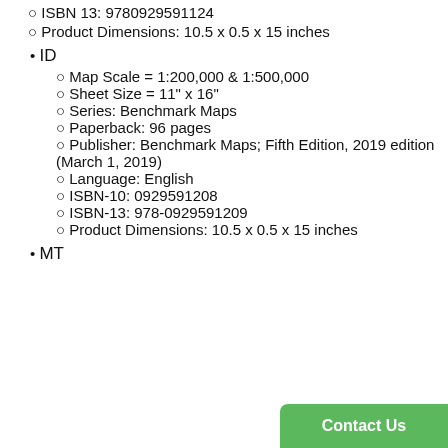ISBN 13: 9780929591124
Product Dimensions: 10.5 x 0.5 x 15 inches
ID
Map Scale = 1:200,000 & 1:500,000
Sheet Size = 11" x 16"
Series: Benchmark Maps
Paperback: 96 pages
Publisher: Benchmark Maps; Fifth Edition, 2019 edition (March 1, 2019)
Language: English
ISBN-10: 0929591208
ISBN-13: 978-0929591209
Product Dimensions: 10.5 x 0.5 x 15 inches
MT